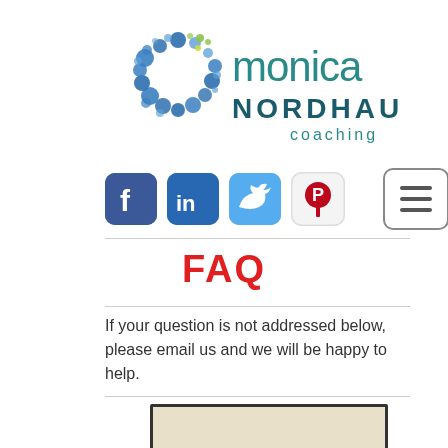[Figure (logo): Monica Nordhaus Coaching logo: circular ring of blue dots with green/yellow accents on left, text 'monica' in teal, 'NORDHAUS' in dark teal bold, 'coaching' in smaller teal text]
[Figure (infographic): Row of social media icons: Facebook (blue rounded square with f), LinkedIn (blue rounded square with in), Twitter (light blue rounded square with bird), Pinterest (light gray rounded square with red P circle), and a hamburger menu button (gray border, three horizontal lines)]
FAQ
If your question is not addressed below, please email us and we will be happy to help.
[Figure (photo): Partial photo visible at bottom of page, light tan/beige tones]